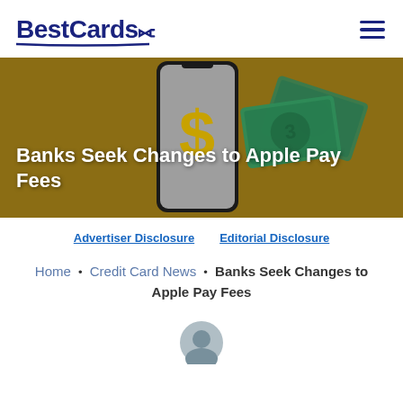BestCards
[Figure (illustration): Hero banner with golden/brown background showing a smartphone with a dollar sign on screen and green money fan behind it. Text overlay reads: Banks Seek Changes to Apple Pay Fees]
Banks Seek Changes to Apple Pay Fees
Advertiser Disclosure   Editorial Disclosure
Home • Credit Card News • Banks Seek Changes to Apple Pay Fees
[Figure (photo): Author avatar circle photo, partially visible at bottom of page]